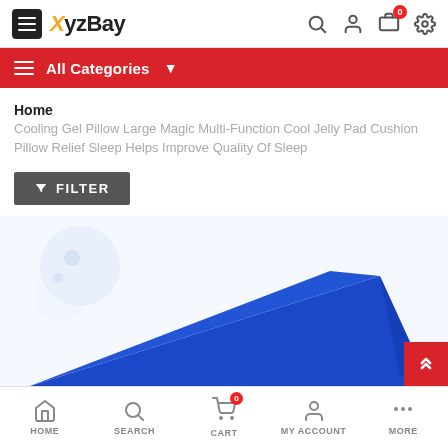XyzBay — All Categories
Home
Cooling Gel Pillow Large Magic Multi-Function Cool Jelly Pad Cushion Pillow Relief Sleep Helps Improve Quality Of Sleep
FILTER
SALE
[Figure (photo): Blue triangular wedge pillow/cushion product image, partially visible at bottom of page]
HOME | SEARCH | CART | MY ACCOUNT | MORE